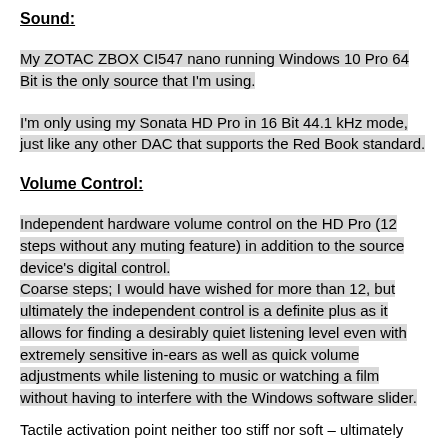Sound:
My ZOTAC ZBOX CI547 nano running Windows 10 Pro 64 Bit is the only source that I'm using.
I'm only using my Sonata HD Pro in 16 Bit 44.1 kHz mode, just like any other DAC that supports the Red Book standard.
Volume Control:
Independent hardware volume control on the HD Pro (12 steps without any muting feature) in addition to the source device's digital control.
Coarse steps; I would have wished for more than 12, but ultimately the independent control is a definite plus as it allows for finding a desirably quiet listening level even with extremely sensitive in-ears as well as quick volume adjustments while listening to music or watching a film without having to interfere with the Windows software slider.
Tactile activation point neither too stiff nor soft – ultimately